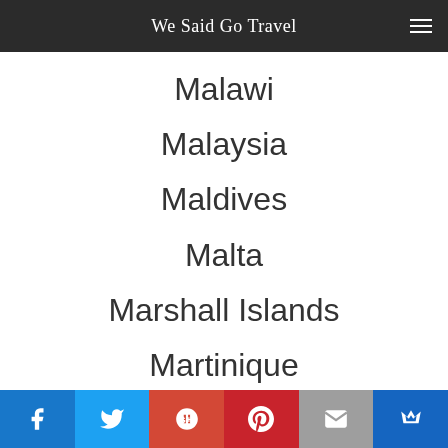We Said Go Travel
Malawi
Malaysia
Maldives
Malta
Marshall Islands
Martinique
Mauritania